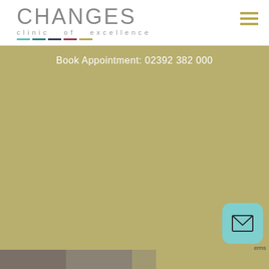[Figure (logo): CHANGES clinic of excellence logo with coloured underline bars and hamburger menu icon]
Book Appointment: 02392 382 000
[Figure (illustration): Large gold/olive background area taking up most of the page]
[Figure (illustration): Teal rounded mail/envelope button widget at bottom right]
[Figure (photo): Partially visible person photo at bottom of page]